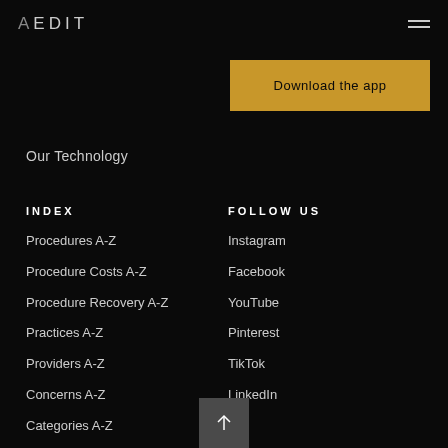AEDIT
[Figure (screenshot): Download the app button in golden/amber color]
Our Technology
INDEX
Procedures A-Z
Procedure Costs A-Z
Procedure Recovery A-Z
Practices A-Z
Providers A-Z
Concerns A-Z
Categories A-Z
FOLLOW US
Instagram
Facebook
YouTube
Pinterest
TikTok
LinkedIn